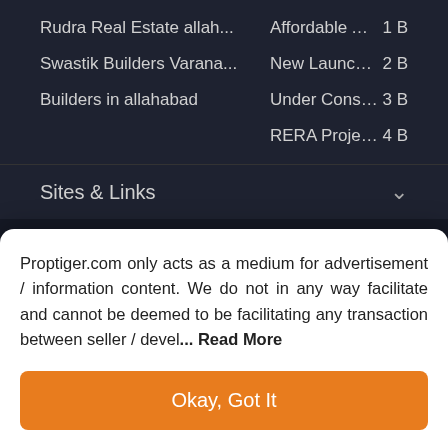Rudra Real Estate allah...
Affordable Apartments I...  1 B
Swastik Builders Varana...
New Launch Projects in ...  2 B
Builders in allahabad
Under Construction Villa...  3 B
RERA Projects in allaha...  4 B
Sites & Links
Visit us Plot No. 25, Echelon
Contact us India +918030-178
Follow Us
Proptiger.com only acts as a medium for advertisement / information content. We do not in any way facilitate and cannot be deemed to be facilitating any transaction between seller / devel... Read More
Okay, Got It